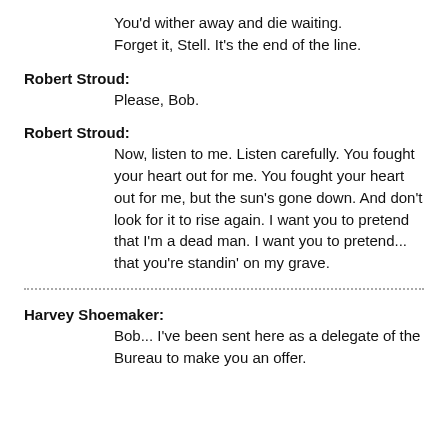You'd wither away and die waiting. Forget it, Stell. It's the end of the line.
Robert Stroud: Please, Bob.
Robert Stroud: Now, listen to me. Listen carefully. You fought your heart out for me. You fought your heart out for me, but the sun's gone down. And don't look for it to rise again. I want you to pretend that I'm a dead man. I want you to pretend... that you're standin' on my grave.
Harvey Shoemaker: Bob... I've been sent here as a delegate of the Bureau to make you an offer.